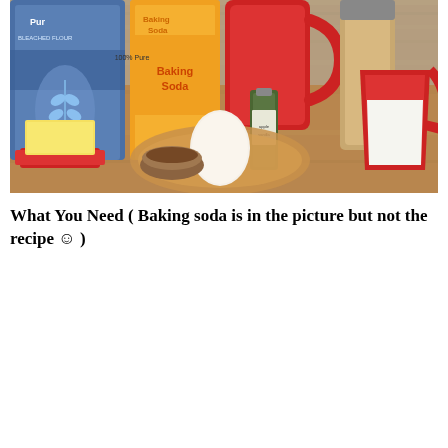[Figure (photo): A wooden countertop with baking ingredients laid out: a bag of bleached flour (top left), a box of baking soda (center), a red pitcher/measuring cup, a stick of butter on a red plate (bottom left), a white egg on a wooden cutting board, a small bottle of vanilla extract, a glass jar, and a red measuring cup filled with milk (right side).]
What You Need ( Baking soda is in the picture but not the recipe ☺ )